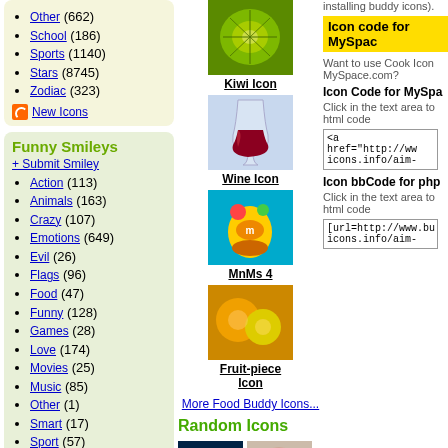Other (662)
School (186)
Sports (1140)
Stars (8745)
Zodiac (323)
New Icons
Funny Smileys
+ Submit Smiley
Action (113)
Animals (163)
Crazy (107)
Emotions (649)
Evil (26)
Flags (96)
Food (47)
Funny (128)
Games (28)
Love (174)
Movies (25)
Music (85)
Other (1)
Smart (17)
Sport (57)
Stupid (47)
Tablet (66)
Zodiac (36)
New Smileys
MySpace Avatars
[Figure (photo): Kiwi Icon - green kiwi fruit close-up]
Kiwi Icon
[Figure (photo): Wine Icon - wine glass with red wine]
Wine Icon
[Figure (photo): MnMs 4 - M&M candy character]
MnMs 4
[Figure (photo): Fruit-piece Icon - fruit pieces]
Fruit-piece Icon
More Food Buddy Icons...
Random Icons
[Figure (photo): Surf Icon 14]
Surf Icon 14
[Figure (photo): Lindsay Lohan Icon]
Lindsay Lohan Icon
Icon code for MySpace
Want to use Cook Icons on MySpace.com?
Icon Code for MySpace
Click in the text area to copy html code
<a href="http://ww icons.info/aim-
Icon bbCode for php
Click in the text area to copy html code
[url=http://www.bu icons.info/aim-